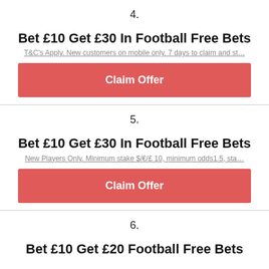4.
Bet £10 Get £30 In Football Free Bets
T&C's Apply. New customers on mobile only. 7 days to claim and st…
Claim Offer
5.
Bet £10 Get £30 In Football Free Bets
New Players Only. Minimum stake $/€/£ 10, minimum odds1.5, sta…
Claim Offer
6.
Bet £10 Get £20 Football Free Bets